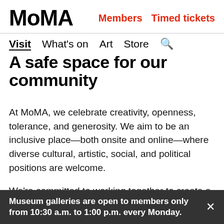MoMA   Members   Timed tickets
Visit   What's on   Art   Store   Search
A safe space for our community
At MoMA, we celebrate creativity, openness, tolerance, and generosity. We aim to be an inclusive place—both onsite and online—where diverse cultural, artistic, social, and political positions are welcome.
We're committed to working together to create a safe experience for our team and visitors, and our professionally trained frontline staff are here to help you. We have a zero-tolerance policy for individuals
Museum galleries are open to members only from 10:30 a.m. to 1:00 p.m. every Monday.